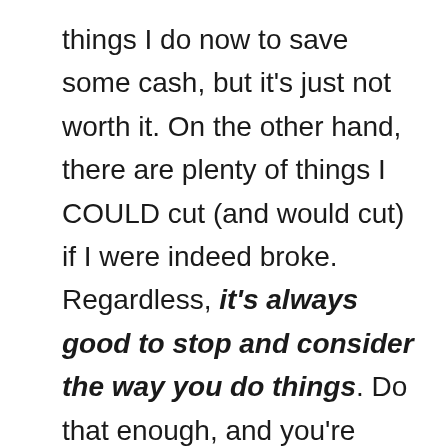things I do now to save some cash, but it's just not worth it. On the other hand, there are plenty of things I COULD cut (and would cut) if I were indeed broke. Regardless, it's always good to stop and consider the way you do things. Do that enough, and you're bound to stay focused!